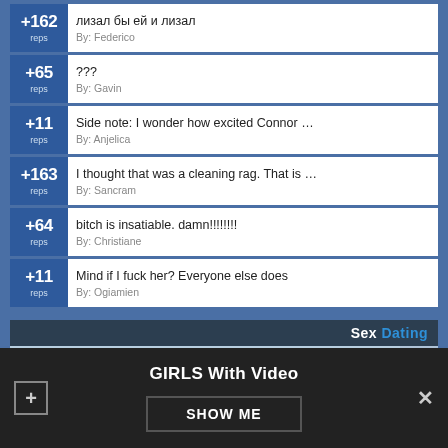+162 reps | лизал бы ей и лизал | By: Federico
+65 reps | ??? | By: Gavin
+11 reps | Side note: I wonder how excited Connor … | By: Anjelica
+163 reps | I thought that was a cleaning rag. That is … | By: Sancram
+64 reps | bitch is insatiable. damn!!!!!!!!! | By: Christiane
+11 reps | Mind if I fuck her? Everyone else does | By: Ogiamien
[Figure (photo): Advertisement for Sex Dating website showing a woman with brown hair, with a dark header bar reading 'Sex Dating']
GIRLS With Video
SHOW ME